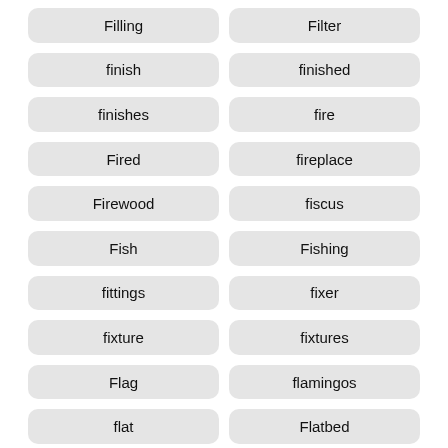Filling
Filter
finish
finished
finishes
fire
Fired
fireplace
Firewood
fiscus
Fish
Fishing
fittings
fixer
fixture
fixtures
Flag
flamingos
flat
Flatbed